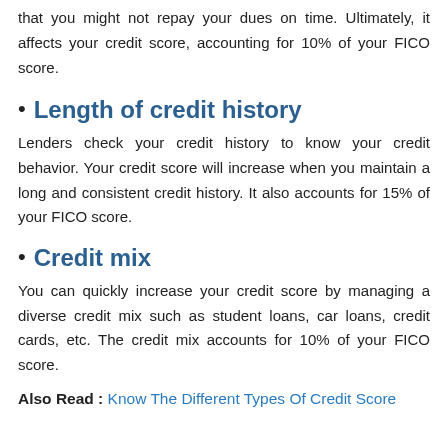that you might not repay your dues on time. Ultimately, it affects your credit score, accounting for 10% of your FICO score.
Length of credit history
Lenders check your credit history to know your credit behavior. Your credit score will increase when you maintain a long and consistent credit history. It also accounts for 15% of your FICO score.
Credit mix
You can quickly increase your credit score by managing a diverse credit mix such as student loans, car loans, credit cards, etc. The credit mix accounts for 10% of your FICO score.
Also Read: Know The Different Types Of Credit Score